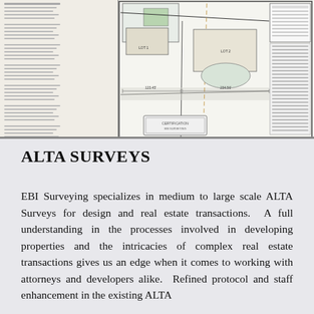[Figure (schematic): ALTA survey drawing/blueprint showing property boundaries, measurements, structures, and land survey details in black and white line drawing style.]
ALTA SURVEYS
EBI Surveying specializes in medium to large scale ALTA Surveys for design and real estate transactions. A full understanding in the processes involved in developing properties and the intricacies of complex real estate transactions gives us an edge when it comes to working with attorneys and developers alike. Refined protocol and staff enhancement in the existing ALTA Standards and the proper procedures to be used